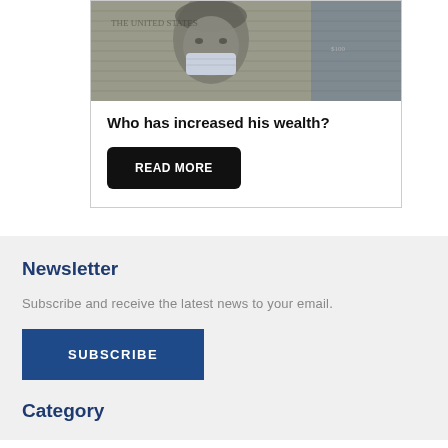[Figure (photo): Grayscale photo of a US dollar bill (Benjamin Franklin) with a face mask, partially cropped]
Who has increased his wealth?
READ MORE
Newsletter
Subscribe and receive the latest news to your email.
SUBSCRIBE
Category